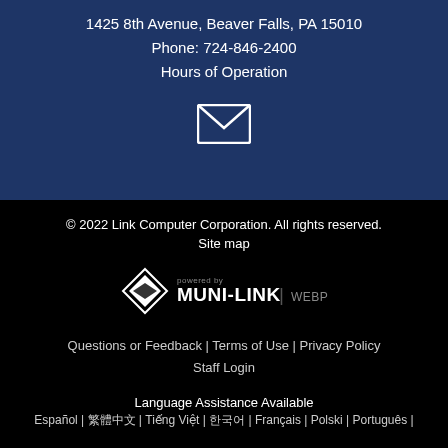1425 8th Avenue, Beaver Falls, PA 15010
Phone: 724-846-2400
Hours of Operation
[Figure (illustration): White envelope/email icon on dark blue background]
© 2022 Link Computer Corporation. All rights reserved.
Site map
[Figure (logo): Powered by MUNI-LINK | WEBPRESENCE logo with diamond shape]
Questions or Feedback | Terms of Use | Privacy Policy
Staff Login
Language Assistance Available
Español | 繁體中文 | Tiếng Việt | 한국어 | Français | Polski | Português |